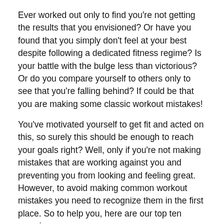Ever worked out only to find you're not getting the results that you envisioned? Or have you found that you simply don't feel at your best despite following a dedicated fitness regime? Is your battle with the bulge less than victorious? Or do you compare yourself to others only to see that you're falling behind? If could be that you are making some classic workout mistakes!
You've motivated yourself to get fit and acted on this, so surely this should be enough to reach your goals right? Well, only if you're not making mistakes that are working against you and preventing you from looking and feeling great. However, to avoid making common workout mistakes you need to recognize them in the first place. So to help you, here are our top ten exercise errors:
No technique! No results! - However you are exercising you need to make sure you're doing what you're doing in the right way. If you